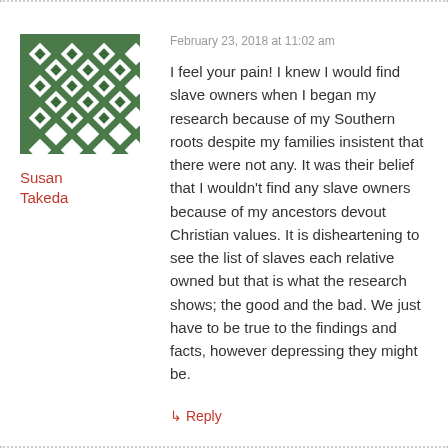[Figure (illustration): Green and white diamond pattern avatar image for user Susan Takeda]
Susan
Takeda
February 23, 2018 at 11:02 am
I feel your pain! I knew I would find slave owners when I began my research because of my Southern roots despite my families insistent that there were not any. It was their belief that I wouldn't find any slave owners because of my ancestors devout Christian values. It is disheartening to see the list of slaves each relative owned but that is what the research shows; the good and the bad. We just have to be true to the findings and facts, however depressing they might be.
↳ Reply